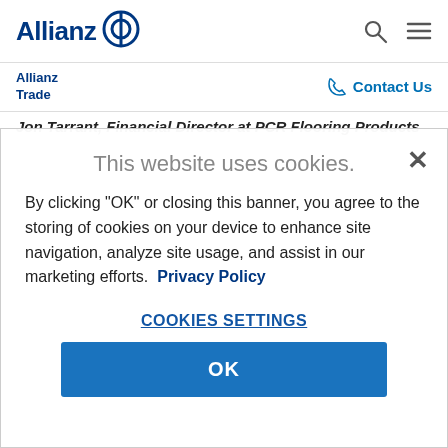Allianz [logo] | search icon | menu icon
Allianz Trade | Contact Us
Jon Tarrant, Financial Director at PCR Flooring Products
This website uses cookies.
By clicking "OK" or closing this banner, you agree to the storing of cookies on your device to enhance site navigation, analyze site usage, and assist in our marketing efforts.  Privacy Policy
COOKIES SETTINGS
OK